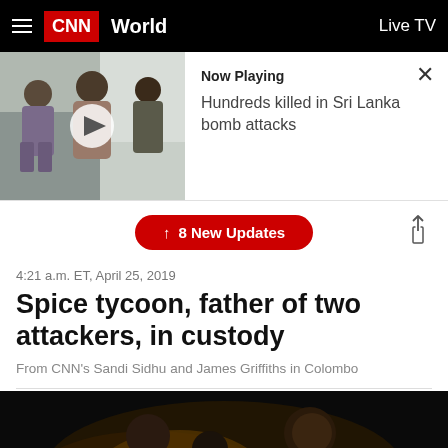CNN World  Live TV
[Figure (screenshot): Video thumbnail showing people standing outside, with a white play button overlay. Now Playing: Hundreds killed in Sri Lanka bomb attacks]
↑ 8 New Updates
4:21 a.m. ET, April 25, 2019
Spice tycoon, father of two attackers, in custody
From CNN's Sandi Sidhu and James Griffiths in Colombo
[Figure (photo): Dark photo showing men in suits at an event, partially visible at the bottom of the page]